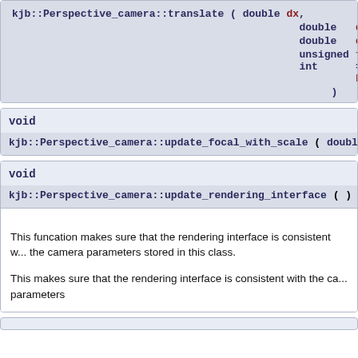kjb::Perspective_camera::translate ( double dx, double dy, double dz, unsigned int frame = FRAME... )
void
kjb::Perspective_camera::update_focal_with_scale ( double ifoc...
void
kjb::Perspective_camera::update_rendering_interface ( ) const
This funcation makes sure that the rendering interface is consistent w... the camera parameters stored in this class.

This makes sure that the rendering interface is consistent with the ca... parameters